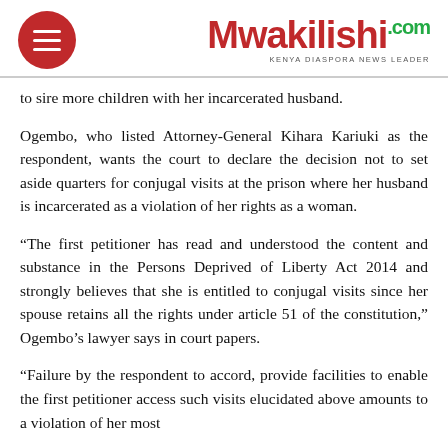Mwakilishi.com — KENYA DIASPORA NEWS LEADER
to sire more children with her incarcerated husband.
Ogembo, who listed Attorney-General Kihara Kariuki as the respondent, wants the court to declare the decision not to set aside quarters for conjugal visits at the prison where her husband is incarcerated as a violation of her rights as a woman.
“The first petitioner has read and understood the content and substance in the Persons Deprived of Liberty Act 2014 and strongly believes that she is entitled to conjugal visits since her spouse retains all the rights under article 51 of the constitution,” Ogembo’s lawyer says in court papers.
“Failure by the respondent to accord, provide facilities to enable the first petitioner access such visits elucidated above amounts to a violation of her most ba...